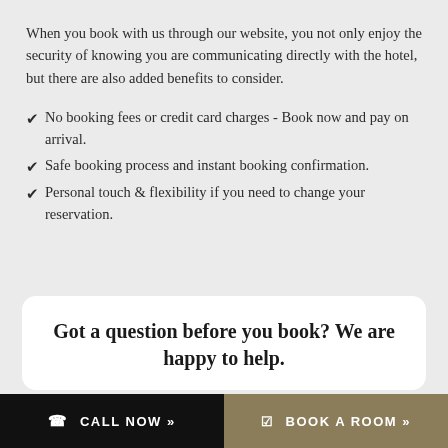When you book with us through our website, you not only enjoy the security of knowing you are communicating directly with the hotel, but there are also added benefits to consider.
✔ No booking fees or credit card charges - Book now and pay on arrival.
✔ Safe booking process and instant booking confirmation.
✔ Personal touch & flexibility if you need to change your reservation.
Got a question before you book? We are happy to help.
☎ CALL NOW »
☑ BOOK A ROOM »